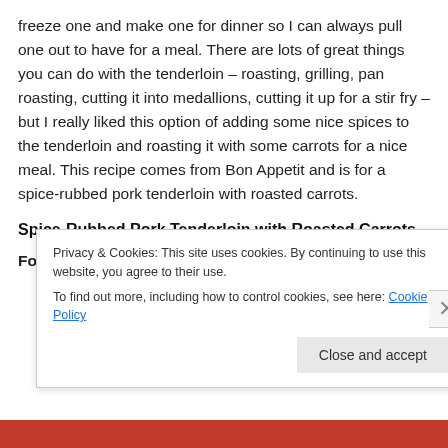freeze one and make one for dinner so I can always pull one out to have for a meal. There are lots of great things you can do with the tenderloin – roasting, grilling, pan roasting, cutting it into medallions, cutting it up for a stir fry – but I really liked this option of adding some nice spices to the tenderloin and roasting it with some carrots for a nice meal. This recipe comes from Bon Appetit and is for a spice-rubbed pork tenderloin with roasted carrots.
Spice-Rubbed Pork Tenderloin with Roasted Carrots
For the Carrots (partially visible, cut off by cookie banner)
Privacy & Cookies: This site uses cookies. By continuing to use this website, you agree to their use.
To find out more, including how to control cookies, see here: Cookie Policy